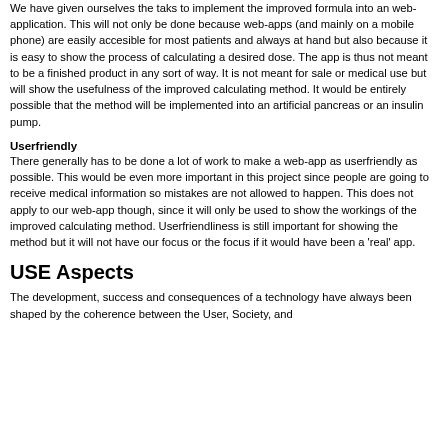We have given ourselves the taks to implement the improved formula into an web-application. This will not only be done because web-apps (and mainly on a mobile phone) are easily accesible for most patients and always at hand but also because it is easy to show the process of calculating a desired dose. The app is thus not meant to be a finished product in any sort of way. It is not meant for sale or medical use but will show the usefulness of the improved calculating method. It would be entirely possible that the method will be implemented into an artificial pancreas or an insulin pump.
Userfriendly
There generally has to be done a lot of work to make a web-app as userfriendly as possible. This would be even more important in this project since people are going to receive medical information so mistakes are not allowed to happen. This does not apply to our web-app though, since it will only be used to show the workings of the improved calculating method. Userfriendliness is still important for showing the method but it will not have our focus or the focus if it would have been a 'real' app.
USE Aspects
The development, success and consequences of a technology have always been shaped by the coherence between the User, Society, and